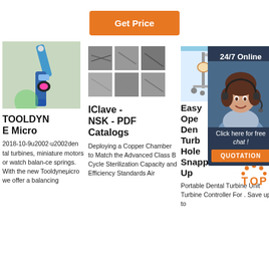[Figure (other): Orange 'Get Price' button]
[Figure (photo): Blue dental handpiece/turbine tool against light background]
TOOLDYNE Micro
2018-10-9u2002·u2002dental turbines, miniature motors or watch balan-ce springs. With the new Tooldyneμicro we offer a balancing
[Figure (photo): Grid of 6 dental X-ray or microscopy images in black and white, 2 rows by 3 columns]
IClave - NSK - PDF Catalogs
Deploying a Copper Chamber to Match the Advanced Class B Cycle Sterilization Capacity and Efficiency Standards Air
[Figure (photo): Portable dental turbine unit on a stand, and a customer service person with headset overlaid with chat UI showing 24/7 Online, Click here for free chat!, and QUOTATION button]
Easy Ope Den Turb Hole Snapped Up
Portable Dental Turbine Unit Turbine Controller For . Save up to